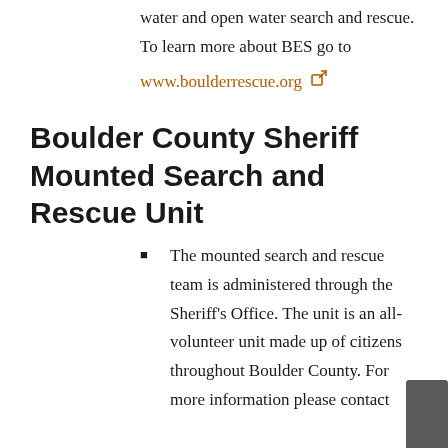water and open water search and rescue. To learn more about BES go to
www.boulderrescue.org
Boulder County Sheriff Mounted Search and Rescue Unit
The mounted search and rescue team is administered through the Sheriff’s Office. The unit is an all-volunteer unit made up of citizens throughout Boulder County. For more information please contact